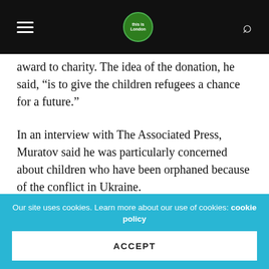Navigation bar with hamburger menu, logo, and search icon
award to charity. The idea of the donation, he said, “is to give the children refugees a chance for a future.”
In an interview with The Associated Press, Muratov said he was particularly concerned about children who have been orphaned because of the conflict in Ukraine.
“We want to return their future,” he said. Read more
Ukrainian bands to bring anti-war message as they rock Glastonbury Festival (Metro)
Glastonbury Festival will play host to a number of Ukrainian
Our site uses cookies. Learn more about our use of cookies: cookie policy
ACCEPT